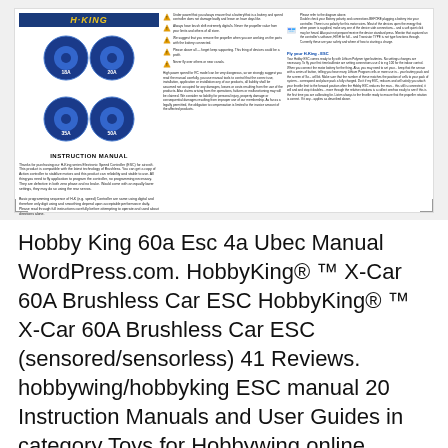[Figure (other): Thumbnail of HobbyKing ESC instruction manual page showing logo, motor diagram, warning symbols, and instruction text in multiple columns]
Hobby King 60a Esc 4a Ubec Manual WordPress.com. HobbyKing® ™ X-Car 60A Brushless Car ESC HobbyKing® ™ X-Car 60A Brushless Car ESC (sensored/sensorless) 41 Reviews. hobbywing/hobbyking ESC manual 20 Instruction Manuals and User Guides in category Toys for Hobbywing online. EZRUN-60A/35A User Manual. 4 pages